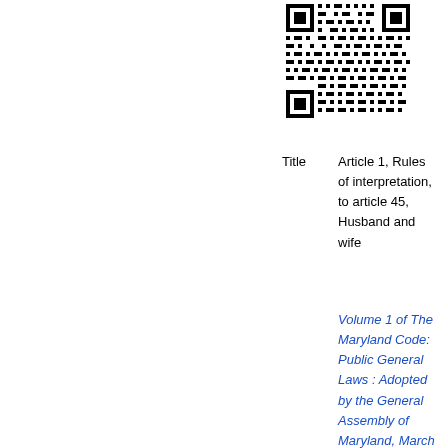[Figure (other): QR code in upper right area of page]
Title    Article 1, Rules of interpretation, to article 45, Husband and wife
Volume 1 of The Maryland Code: Public General Laws : Adopted by the General Assembly of Maryland, March 14, 1888 ;